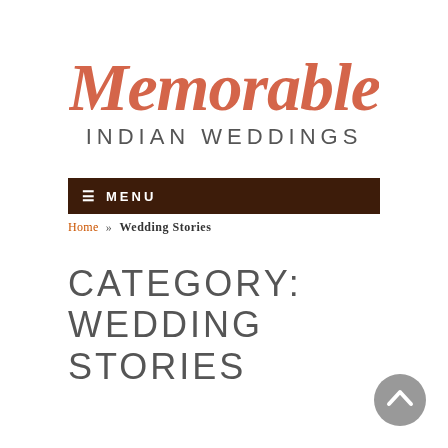[Figure (logo): Memorable Indian Weddings logo — cursive copper/orange script 'Memorable' above sans-serif 'INDIAN WEDDINGS' in dark grey]
≡ MENU
Home » Wedding Stories
CATEGORY: WEDDING STORIES
[Figure (illustration): Grey circular back-to-top arrow button in bottom-right corner]